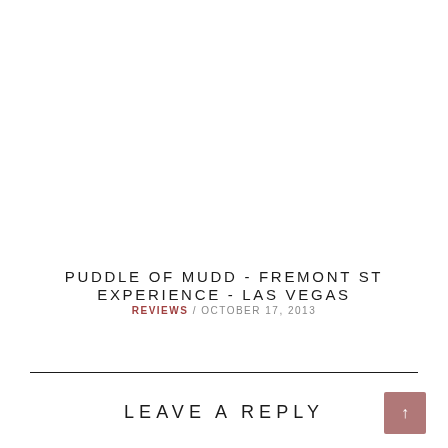PUDDLE OF MUDD - FREMONT ST EXPERIENCE - LAS VEGAS
REVIEWS / OCTOBER 17, 2013
LEAVE A REPLY